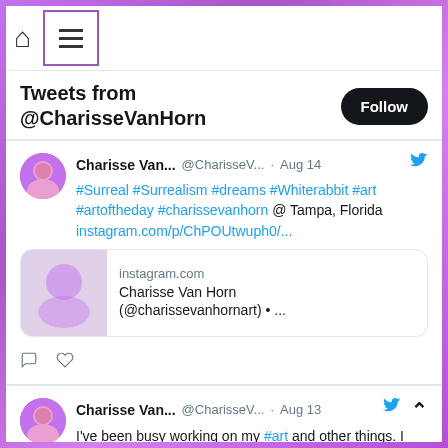Navigation bar with home icon and hamburger menu button
Tweets from @CharisseVanHorn
Charisse Van... @CharisseV... · Aug 14 — #Surreal #Surrealism #dreams #Whiterabbit #art #artoftheday #charissevanhorn @ Tampa, Florida instagram.com/p/ChPOUtwuph0/...
[Figure (screenshot): Instagram link preview card showing instagram.com domain, title 'Charisse Van Horn (@charissevanhornart) • ...']
Charisse Van... @CharisseV... · Aug 13 — I've been busy working on my #art and other things. I have exciting changes and good news